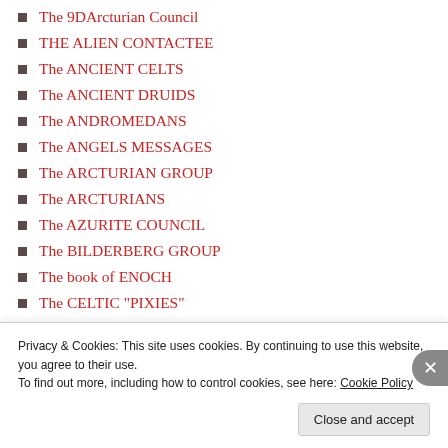The 9DArcturian Council
THE ALIEN CONTACTEE
The ANCIENT CELTS
The ANCIENT DRUIDS
The ANDROMEDANS
The ANGELS MESSAGES
The ARCTURIAN GROUP
The ARCTURIANS
The AZURITE COUNCIL
The BILDERBERG GROUP
The book of ENOCH
The CELTIC "PIXIES"
The CELTIC "SPRITES"
The CETACEANS
The CHAKRA SYSTEMS
The CHIMERA GROUP
THE CHRIST COUNCILS
THE COLLECTIVE
Privacy & Cookies: This site uses cookies. By continuing to use this website, you agree to their use.
To find out more, including how to control cookies, see here: Cookie Policy
Close and accept